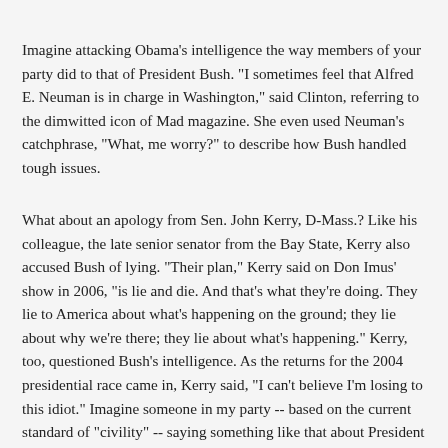Imagine attacking Obama's intelligence the way members of your party did to that of President Bush. "I sometimes feel that Alfred E. Neuman is in charge in Washington," said Clinton, referring to the dimwitted icon of Mad magazine. She even used Neuman's catchphrase, "What, me worry?" to describe how Bush handled tough issues.
What about an apology from Sen. John Kerry, D-Mass.? Like his colleague, the late senior senator from the Bay State, Kerry also accused Bush of lying. "Their plan," Kerry said on Don Imus' show in 2006, "is lie and die. And that's what they're doing. They lie to America about what's happening on the ground; they lie about why we're there; they lie about what's happening." Kerry, too, questioned Bush's intelligence. As the returns for the 2004 presidential race came in, Kerry said, "I can't believe I'm losing to this idiot." Imagine someone in my party -- based on the current standard of "civility" -- saying something like that about President Obama.